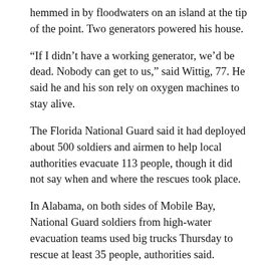hemmed in by floodwaters on an island at the tip of the point. Two generators powered his house.
“If I didn’t have a working generator, we’d be dead. Nobody can get to us,” said Wittig, 77. He said he and his son rely on oxygen machines to stay alive.
The Florida National Guard said it had deployed about 500 soldiers and airmen to help local authorities evacuate 113 people, though it did not say when and where the rescues took place.
In Alabama, on both sides of Mobile Bay, National Guard soldiers from high-water evacuation teams used big trucks Thursday to rescue at least 35 people, authorities said.
A volunteer rescue group based on Marcos Island, Florida, known as the Marcos Patriots, received three calls for help, including from an 80-year-old woman in Gulf Shores, Alabama, whose roof had blown off.